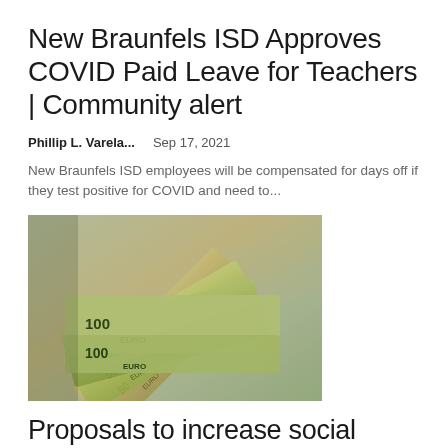New Braunfels ISD Approves COVID Paid Leave for Teachers | Community alert
Phillip L. Varela...   Sep 17, 2021
New Braunfels ISD employees will be compensated for days off if they test positive for COVID and need to...
[Figure (photo): Fan of Euro banknotes including 100 EURO bills spread out]
Proposals to increase social allowances and extend paid